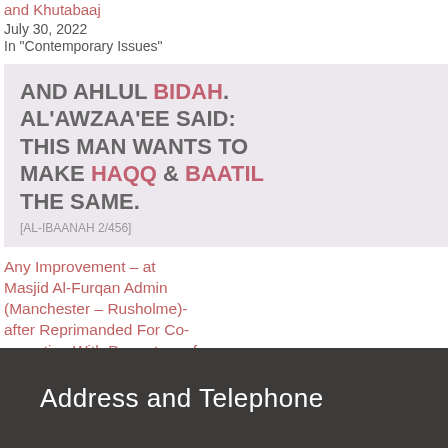and Khutabaaj
July 30, 2022
In "Contemporary Issues"
[Figure (infographic): Quote card with pink/mauve background. Text reads: AND AHLUL BIDAH. AL'AWZAA'EE SAID: THIS MAN WANTS TO MAKE HAQQ & BAATIL THE SAME. [AL-IBAANAH 2/456]]
Any Improvement – at Masjid Al-Furqan Admin (Manchester – Rusholme)- after Reprimanded For Co-operating With Promoters of Mubtadi'ah In 2014?
July 31, 2022
In "Contemporary Issues"
Address and Telephone